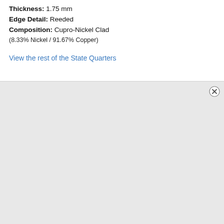Thickness: 1.75 mm
Edge Detail: Reeded
Composition: Cupro-Nickel Clad
(8.33% Nickel / 91.67% Copper)
View the rest of the State Quarters
[Figure (other): Light gray background area with a close/dismiss button (circled X) in the top-right corner]